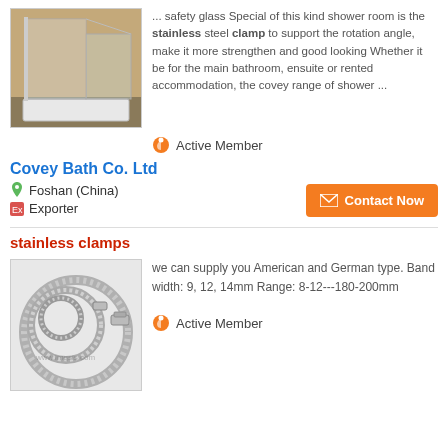[Figure (photo): Photo of a corner shower room enclosure with glass panels and white tray]
... safety glass Special of this kind shower room is the stainless steel clamp to support the rotation angle, make it more strengthen and good looking Whether it be for the main bathroom, ensuite or rented accommodation, the covey range of shower ...
Active Member
Covey Bath Co. Ltd
Foshan (China)
Exporter
Contact Now
stainless clamps
[Figure (photo): Photo of stainless steel hose clamps, circular shaped, American and German type]
we can supply you American and German type. Band width: 9, 12, 14mm Range: 8-12---180-200mm
Active Member